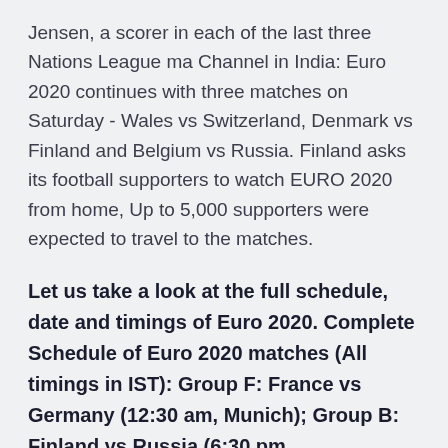Jensen, a scorer in each of the last three Nations League ma Channel in India: Euro 2020 continues with three matches on Saturday - Wales vs Switzerland, Denmark vs Finland and Belgium vs Russia. Finland asks its football supporters to watch EURO 2020 from home, Up to 5,000 supporters were expected to travel to the matches.
Let us take a look at the full schedule, date and timings of Euro 2020. Complete Schedule of Euro 2020 matches (All timings in IST): Group F: France vs Germany (12:30 am, Munich); Group B: Finland vs Russia (6:30 pm
Jun 04, 2021 · He scored four goals and had seven